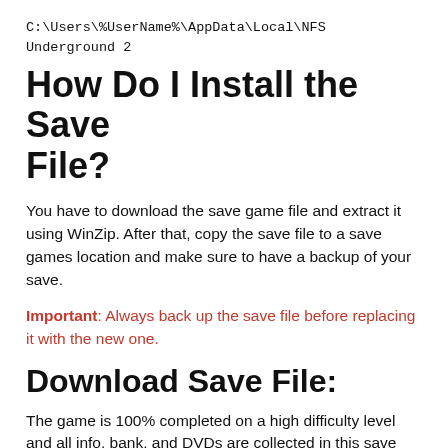C:\Users\%UserName%\AppData\Local\NFS Underground 2
How Do I Install the Save File?
You have to download the save game file and extract it using WinZip. After that, copy the save file to a save games location and make sure to have a backup of your save.
Important: Always back up the save file before replacing it with the new one.
Download Save File:
The game is 100% completed on a high difficulty level and all info, bank, and DVDs are collected in this save file.  It was saved after unlocking all magazines and hidden accessories, all hidden cars, and all bonus cars. You